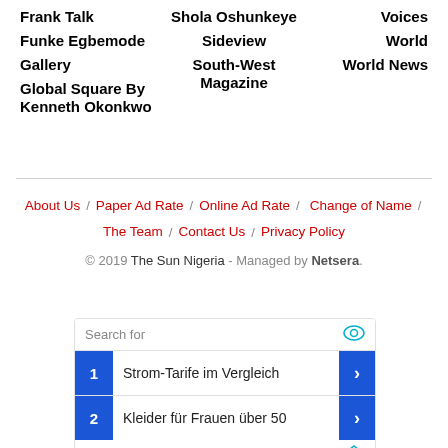Frank Talk
Shola Oshunkeye
Voices
Funke Egbemode
Sideview
World
Gallery
South-West Magazine
World News
Global Square By Kenneth Okonkwo
About Us / Paper Ad Rate / Online Ad Rate / Change of Name / The Team / Contact Us / Privacy Policy
© 2019 The Sun Nigeria - Managed by Netsera.
[Figure (other): Advertisement search widget with items: 1. Strom-Tarife im Vergleich, 2. Kleider für Frauen über 50]